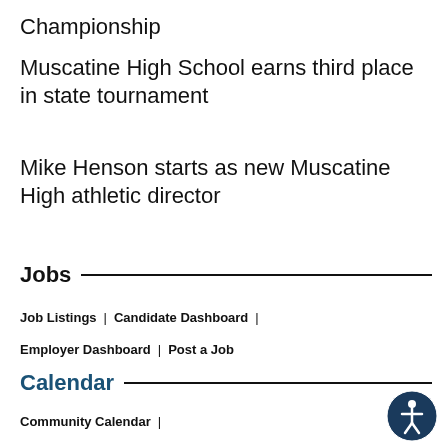Championship
Muscatine High School earns third place in state tournament
Mike Henson starts as new Muscatine High athletic director
Jobs
Job Listings | Candidate Dashboard |
Employer Dashboard | Post a Job
Calendar
Community Calendar |